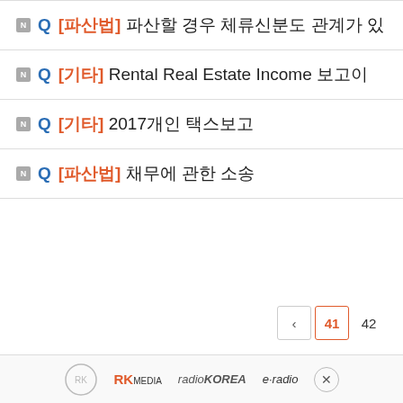Q [파산법] 파산할 경우 체류신분도 관계가 있...
Q [기타] Rental Real Estate Income 보고이...
Q [기타] 2017개인 택스보고
Q [파산법] 채무에 관한 소송
RK MEDIA  radioKOREA  e-radio  ×